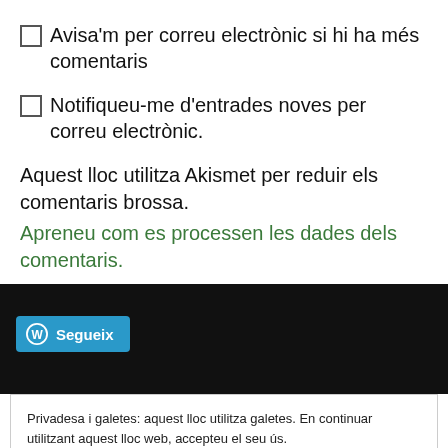Avisa'm per correu electrònic si hi ha més comentaris
Notifiqueu-me d'entrades noves per correu electrònic.
Aquest lloc utilitza Akismet per reduir els comentaris brossa. Apreneu com es processen les dades dels comentaris.
Segueix
Privadesa i galetes: aquest lloc utilitza galetes. En continuar utilitzant aquest lloc web, accepteu el seu ús. Per a obtenir més informació, inclòs com controlar les galetes, mireu aquí: Política de galetes
Tanca i accepta
@AYNIBiology